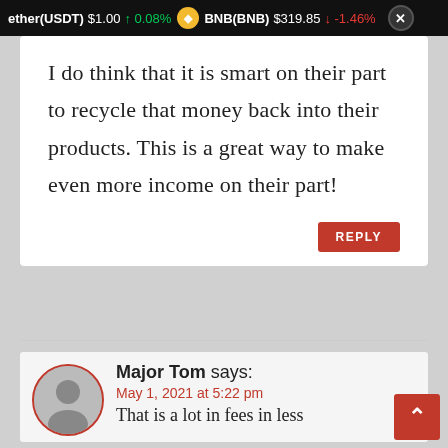ether(USDT) $1.00 ↑ 0.08% BNB(BNB) $319.85 ↓ -1.46% ✕
I do think that it is smart on their part to recycle that money back into their products. This is a great way to make even more income on their part!
Major Tom says:
May 1, 2021 at 5:22 pm
That is a lot in fees in less